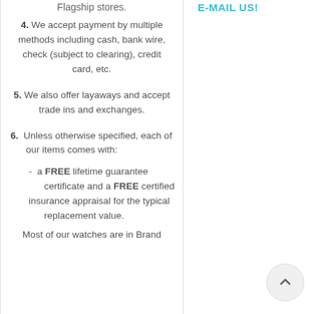Flagship stores.
E-MAIL US!
4. We accept payment by multiple methods including cash, bank wire, check (subject to clearing), credit card, etc.
5. We also offer layaways and accept trade ins and exchanges.
6. Unless otherwise specified, each of our items comes with:
- a FREE lifetime guarantee certificate and a FREE certified insurance appraisal for the typical replacement value.
Most of our watches are in Brand